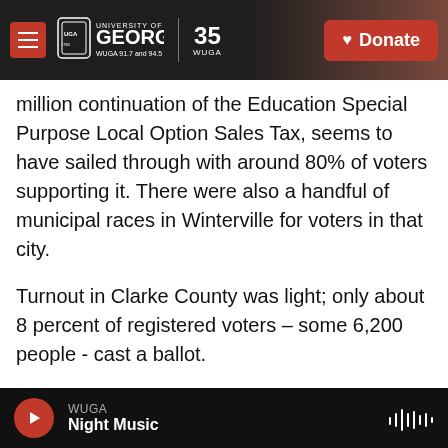University of Georgia WUGA 91.7 and 94.5 FM | 35 WUGA | Donate
million continuation of the Education Special Purpose Local Option Sales Tax, seems to have sailed through with around 80% of voters supporting it. There were also a handful of municipal races in Winterville for voters in that city.
Turnout in Clarke County was light; only about 8 percent of registered voters – some 6,200 people - cast a ballot.
After certifying Tuesday's results, the Board of Elections will continue work on a much more complex task – redrawing the county's commission
WUGA Night Music